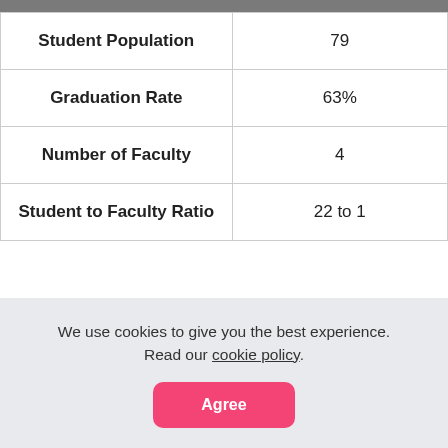| Student Population | 79 |
| Graduation Rate | 63% |
| Number of Faculty | 4 |
| Student to Faculty Ratio | 22 to 1 |
We use cookies to give you the best experience. Read our cookie policy.